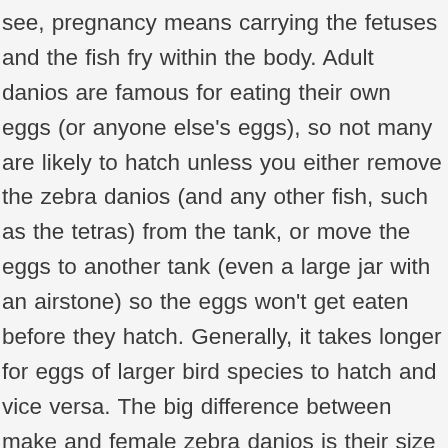see, pregnancy means carrying the fetuses and the fish fry within the body. Adult danios are famous for eating their own eggs (or anyone else's eggs), so not many are likely to hatch unless you either remove the zebra danios (and any other fish, such as the tetras) from the tank, or move the eggs to another tank (even a large jar with an airstone) so the eggs won't get eaten before they hatch. Generally, it takes longer for eggs of larger bird species to hatch and vice versa. The big difference between make and female zebra danios is their size and shape. A zebra danio is ready to lay eggs when you see her mid section bulging with lots of little circular protrusions. You can place turtle eggs as the regular solid blocks, and they will hatch slowly into turtles. Therefore, if you have 4-5 female danios in your breeding tank, expect up to 500 eggs. A clean,